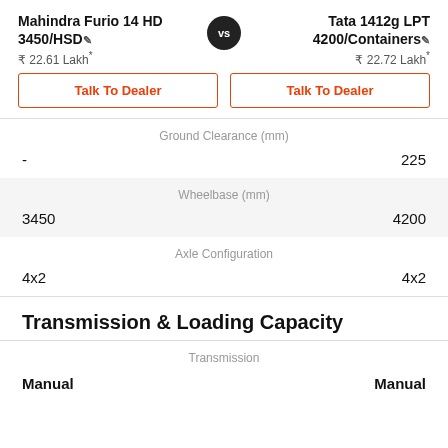Mahindra Furio 14 HD 3450/HSD
₹ 22.61 Lakh*
Tata 1412g LPT 4200/Containers
₹ 22.72 Lakh*
Talk To Dealer
Talk To Dealer
| Left Value | Spec | Right Value |
| --- | --- | --- |
| - | Ground Clearance (mm) | 225 |
| 3450 | Wheelbase (mm) | 4200 |
| 4x2 | Axle Configuration | 4x2 |
Transmission & Loading Capacity
| Left Value | Spec | Right Value |
| --- | --- | --- |
| Manual | Transmission | Manual |